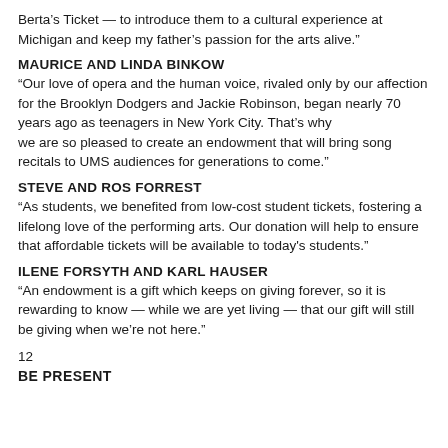Berta’s Ticket — to introduce them to a cultural experience at Michigan and keep my father’s passion for the arts alive.”
MAURICE AND LINDA BINKOW
“Our love of opera and the human voice, rivaled only by our affection for the Brooklyn Dodgers and Jackie Robinson, began nearly 70 years ago as teenagers in New York City. That’s why we are so pleased to create an endowment that will bring song recitals to UMS audiences for generations to come.”
STEVE AND ROS FORREST
“As students, we benefited from low-cost student tickets, fostering a lifelong love of the performing arts. Our donation will help to ensure that affordable tickets will be available to today's students.”
ILENE FORSYTH AND KARL HAUSER
“An endowment is a gift which keeps on giving forever, so it is rewarding to know — while we are yet living — that our gift will still be giving when we’re not here.”
12
BE PRESENT